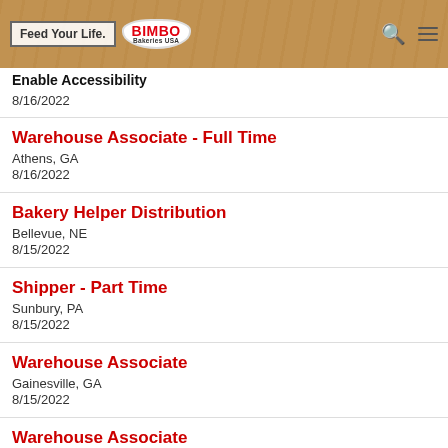Feed Your Life. BIMBO Bakeries USA — Enable Accessibility
8/16/2022
Warehouse Associate - Full Time
Athens, GA
8/16/2022
Bakery Helper Distribution
Bellevue, NE
8/15/2022
Shipper - Part Time
Sunbury, PA
8/15/2022
Warehouse Associate
Gainesville, GA
8/15/2022
Warehouse Associate
Norcross, GA